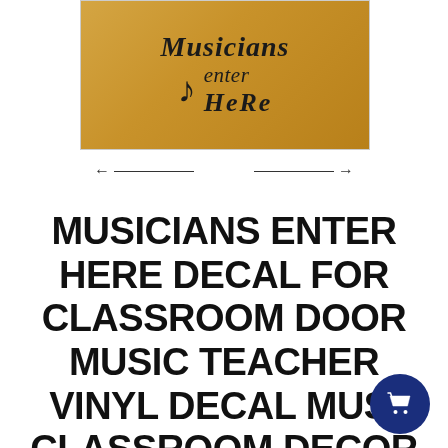[Figure (photo): A wooden/orange door with a black vinyl decal reading 'Musicians enter Here' with a musical note arrow graphic.]
← →
MUSICIANS ENTER HERE DECAL FOR CLASSROOM DOOR MUSIC TEACHER VINYL DECAL MUSIC CLASSROOM DECOR